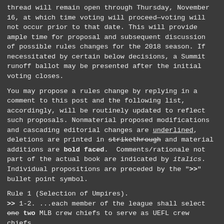thread will remain open through Thursday, November 16, at which time voting will proceed—voting will not occur prior to that date. This will provide ample time for proposal and subsequent discussion of possible rules changes for the 2018 season. If necessitated by certain below decisions, a Summit runoff ballot may be presented after the initial voting closes.
You may propose a rules change by replying in a comment to this post and the following list, accordingly, will be routinely updated to reflect such proposals. Nonmaterial proposed modifications and cascading editorial changes are underlined, deletions are printed in strikethrough and material additions are bold faced. Comments/rationale not part of the actual book are indicated by italics. Individual propositions are preceded by the ">>" bullet point symbol.
Rule 1 (Selection of Umpires).
>> 1-2. ...each member of the league shall select one two MLB crew chiefs to serve as UEFL crew chiefs.
COMMENT: Adds a second crew to chief to list of drafted umpires (2 cc + 2 PRM + 2 SEC = 6).
>> 1-2. ...each member of the league shall select two